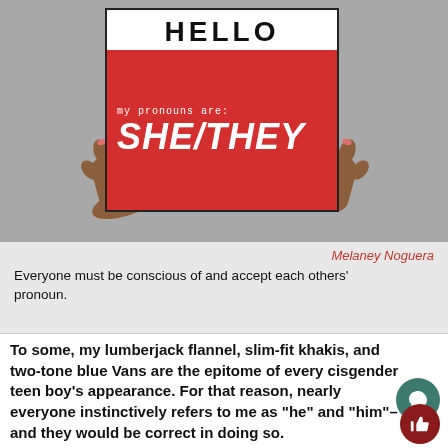[Figure (illustration): Illustrated hands holding a 'HELLO my pronouns are: SHE/THEY' name tag sign against a grey background.]
Melaney Noguera
Everyone must be conscious of and accept each others' pronoun.
To some, my lumberjack flannel, slim-fit khakis, and two-tone blue Vans are the epitome of every cisgender teen boy’s appearance. For that reason, nearly everyone instinctively refers to me as “he” and “him”– and they would be correct in doing so.
Up until the beginning of last year, I took my gender